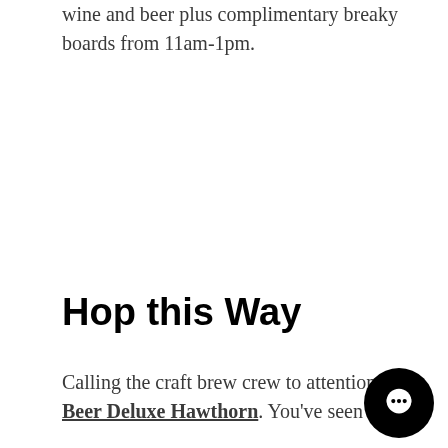wine and beer plus complimentary breaky boards from 11am-1pm.
Hop this Way
Calling the craft brew crew to attention at Beer Deluxe Hawthorn. You've seen a